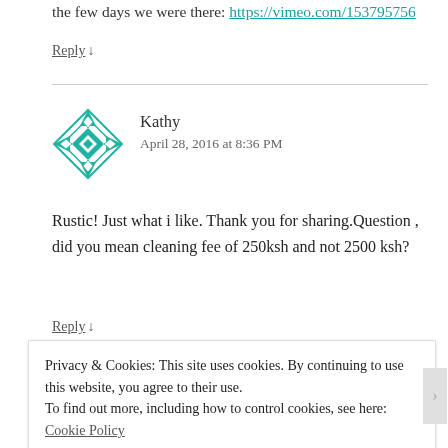the few days we were there: https://vimeo.com/153795756
Reply ↓
[Figure (illustration): Green geometric avatar with diamond pattern for user Kathy]
Kathy
April 28, 2016 at 8:36 PM
Rustic! Just what i like. Thank you for sharing.Question , did you mean cleaning fee of 250ksh and not 2500 ksh?
Reply ↓
Privacy & Cookies: This site uses cookies. By continuing to use this website, you agree to their use.
To find out more, including how to control cookies, see here: Cookie Policy